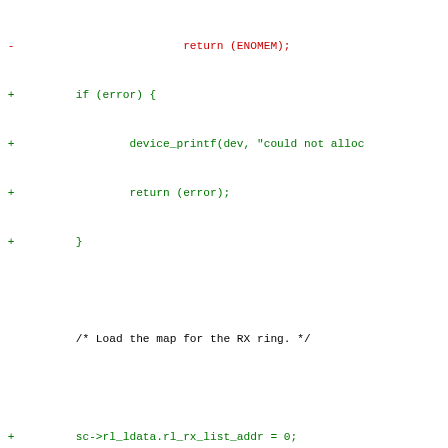Diff code showing changes to RX ring DMA map loading and buffer creation in a network driver
[Figure (screenshot): Source code diff showing removed (red, minus) and added (green, plus) lines for a BSD network driver RX ring DMA map loading and buffer creation]